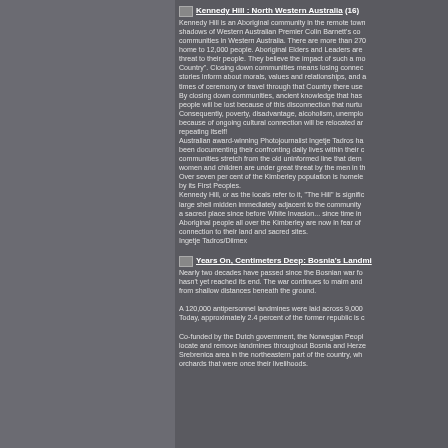Kennedy Hill : North Western Australia (16)
Kennedy Hill is an Aboriginal community in the remote town shadows of Western Australian Premier Colin Barnett's communities in Western Australia. There are more than 270 home to 12,000 people. Aboriginal Elders and Leaders are threat to their people. They believe the impact of such a mo Country". Closing down communities means losing connec stories inform about morals, values and relationships, and times of ceremony or travel through that Country there use By closing down communities, ancient knowledge that has people will be lost because of this disconnection that nurtu Consequently, poverty, disadvantage, alcoholism, unemplo because of ongoing cultural connection will be relocated ar repeating itself! Australian award-winning Photojournalist Ingetje Tadros ha been documenting their confronting daily lives within their c communities stretch from the old uninformed line that demo women and children are under great threat by the men in th Over seven per cent of the Kimberley population is homele by its First Peoples. Kennedy Hill, or as the locals refer to it, "The Hill" is signific large shell midden immediately adjacent to the community a sacred place since before White Invasion... since time in Aboriginal people all over the Kimberley are now in fear of connection to their land and sacred sites. Ingetje Tadros/Diimex
Years On, Centimeters Deep: Bosnia's Landmi
Nearly two decades have passed since the Bosnian war fo hasn't yet reached its end. The war continues to maim and from shallow distances beneath the ground.
A 120,000 antipersonnel landmines were laid across 9,000 Today, approximately 2.4 percent of the former republic is c
Co-funded by the Dutch government, the Norwegian Peopl locate and remove landmines throughout Bosnia and Herze Srebrenica area in the northeastern part of the country, wh orchards that were once their livelihoods.